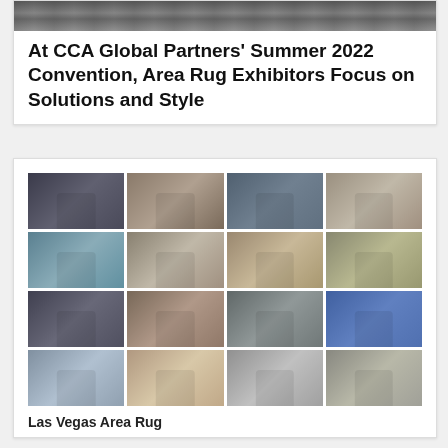[Figure (photo): Partial cropped photo at top of article card showing people at a convention]
At CCA Global Partners' Summer 2022 Convention, Area Rug Exhibitors Focus on Solutions and Style
[Figure (photo): Collage of 16 photos from the CCA Global Partners Summer 2022 Convention showing groups of people and area rugs on display in a 4x4 mosaic grid]
Las Vegas Area Rug